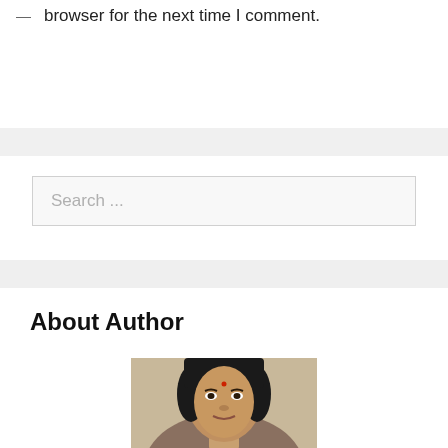browser for the next time I comment.
Search ...
About Author
[Figure (photo): Portrait photo of a woman with dark hair and a bindi, partially cropped at bottom of page]